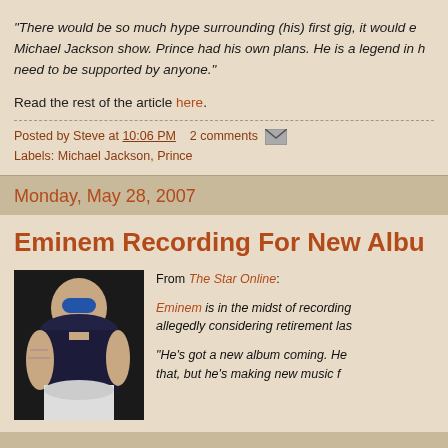"There would be so much hype surrounding (his) first gig, it would eclipse the Michael Jackson show. Prince had his own plans. He is a legend in his own right need to be supported by anyone."
Read the rest of the article here.
Posted by Steve at 10:06 PM   2 comments
Labels: Michael Jackson, Prince
Monday, May 28, 2007
Eminem Recording For New Albu...
[Figure (photo): Photo of Eminem sitting, wearing a blue beanie and dark sleeveless shirt, with tattoos visible on arms]
From The Star Online:
Eminem is in the midst of recording... allegedly considering retirement las...
"He's got a new album coming. He... that, but he's making new music f...